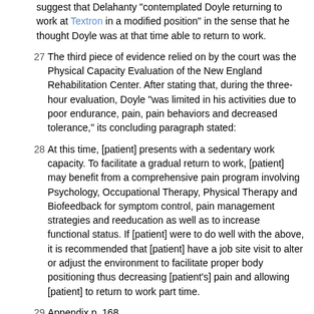suggest that Delahanty "contemplated Doyle returning to work at Textron in a modified position" in the sense that he thought Doyle was at that time able to return to work.
27  The third piece of evidence relied on by the court was the Physical Capacity Evaluation of the New England Rehabilitation Center. After stating that, during the three-hour evaluation, Doyle "was limited in his activities due to poor endurance, pain, pain behaviors and decreased tolerance," its concluding paragraph stated:
28  At this time, [patient] presents with a sedentary work capacity. To facilitate a gradual return to work, [patient] may benefit from a comprehensive pain program involving Psychology, Occupational Therapy, Physical Therapy and Biofeedback for symptom control, pain management strategies and reeducation as well as to increase functional status. If [patient] were to do well with the above, it is recommended that [patient] have a job site visit to alter or adjust the environment to facilitate proper body positioning thus decreasing [patient's] pain and allowing [patient] to return to work part time.
29  Appendix p. 168.
30  The court's summary pays, in my view, short shrift to the report of